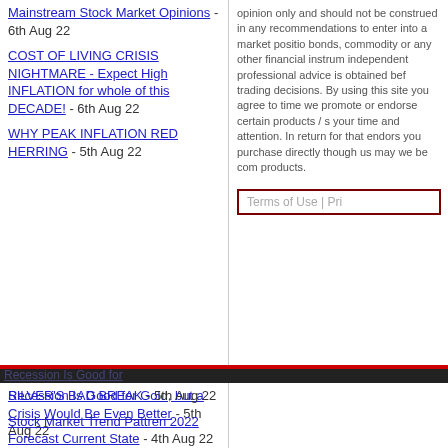Mainstream Stock Market Opinions - 6th Aug 22
COST OF LIVING CRISIS NIGHTMARE - Expect High INFLATION for whole of this DECADE! - 6th Aug 22
WHY PEAK INFLATION RED HERRING - 5th Aug 22
opinion only and should not be construed in any recommendations to enter into a market position bonds, commodity or any other financial instrum independent professional advice is obtained bef trading decisions. By using this site you agree to time we promote or endorse certain products / s your time and attention. In return for that endors you purchase directly though us may we be com products.
Terms of Use | Pri
Recession Is Good for Gold, but a Crisis Would Be Even Better - 5th Aug 22
Stock Market Rallying On Slowly Thinning Air - 5th Aug 22
SILVER'S BAD BREAK - 5th Aug 22
Stock Market Trend Pattren 2022 Forecast Current State - 4th Aug 22
Should We Be Prepared For An Aggressive U.S. Fed In The Future? - 4th Aug 22
Will the S&P 500 Stock Market Index Go the Way...